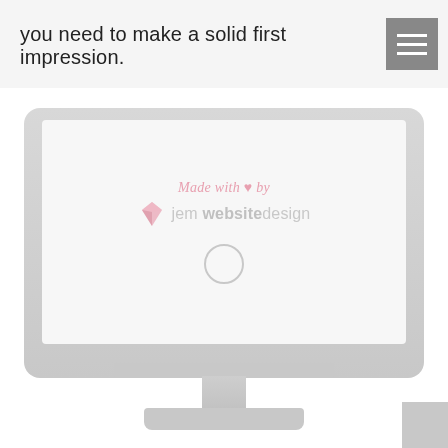you need to make a solid first impression.
[Figure (screenshot): An iMac computer displaying a 'Made with love by jem websitedesign' watermark screen, shown on a light gray background. The monitor has a wide bezel, stand and base, with an Apple logo. At the bottom right corner is a partial dark card.]